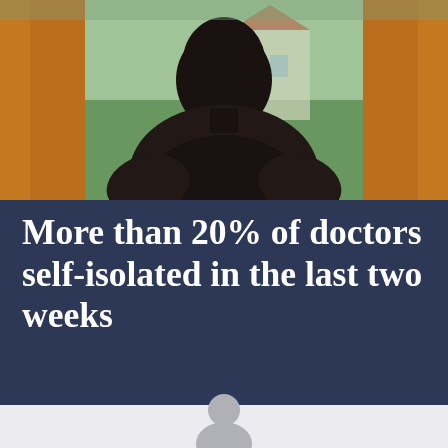[Figure (photo): A person seen from behind, sitting near a window with orange/amber curtains on both sides, looking outside. The background shows greenery and a building. Dark silhouette of person against light.]
More than 20% of doctors self-isolated in the last two weeks
[Figure (illustration): Partial grey person/figure icon at the bottom of the page]